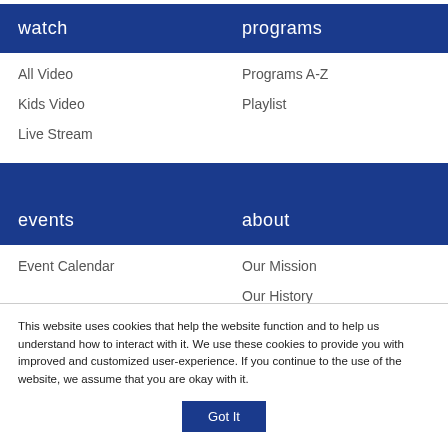watch
All Video
Kids Video
Live Stream
programs
Programs A-Z
Playlist
events
Event Calendar
about
Our Mission
Our History
This website uses cookies that help the website function and to help us understand how to interact with it. We use these cookies to provide you with improved and customized user-experience. If you continue to the use of the website, we assume that you are okay with it.
Got It